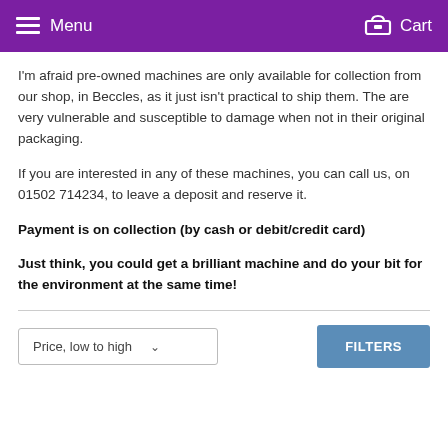Menu   Cart
I'm afraid pre-owned machines are only available for collection from our shop, in Beccles, as it just isn't practical to ship them. The are very vulnerable and susceptible to damage when not in their original packaging.
If you are interested in any of these machines, you can call us, on 01502 714234, to leave a deposit and reserve it.
Payment is on collection (by cash or debit/credit card)
Just think, you could get a brilliant machine and do your bit for the environment at the same time!